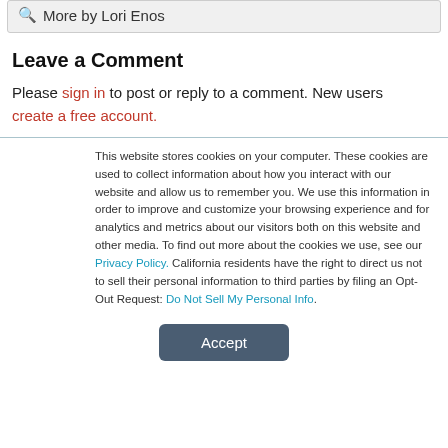More by Lori Enos
Leave a Comment
Please sign in to post or reply to a comment. New users create a free account.
This website stores cookies on your computer. These cookies are used to collect information about how you interact with our website and allow us to remember you. We use this information in order to improve and customize your browsing experience and for analytics and metrics about our visitors both on this website and other media. To find out more about the cookies we use, see our Privacy Policy. California residents have the right to direct us not to sell their personal information to third parties by filing an Opt-Out Request: Do Not Sell My Personal Info.
Accept